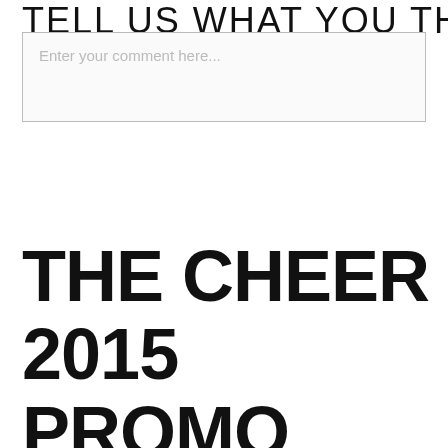TELL US WHAT YOU THINK!
Enter your comment here...
THE CHEER 2015 PROMO VIDEO